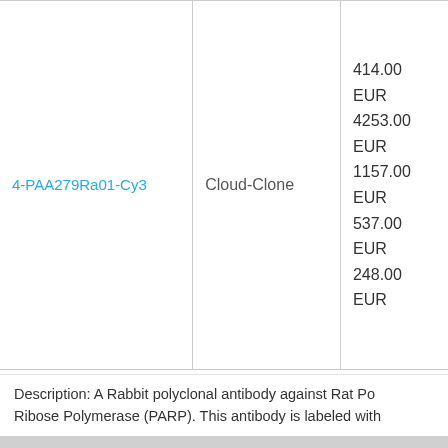| Product | Brand | Price |
| --- | --- | --- |
| 4-PAA279Ra01-Cy3 | Cloud-Clone | 414.00 EUR
4253.00 EUR
1157.00 EUR
537.00 EUR
248.00 EUR |
Description: A Rabbit polyclonal antibody against Rat Po Ribose Polymerase (PARP). This antibody is labeled with